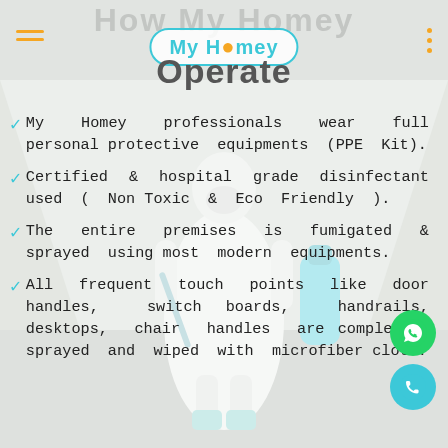[Figure (photo): Background photo of a person in a white PPE suit spraying disinfectant in a corridor, with a large blue canister. White overlay applied on top.]
How My Homey Operate
My Homey professionals wear full personal protective equipments (PPE Kit).
Certified & hospital grade disinfectant used ( Non Toxic & Eco Friendly ).
The entire premises is fumigated & sprayed using most modern equipments.
All frequent touch points like door handles, switch boards, handrails, desktops, chair handles are completely sprayed and wiped with microfiber cloth.